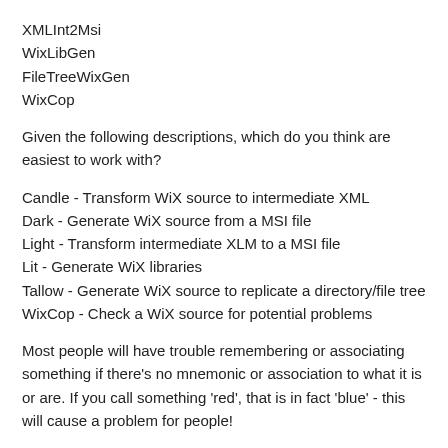XMLInt2Msi
WixLibGen
FileTreeWixGen
WixCop
Given the following descriptions, which do you think are easiest to work with?
Candle - Transform WiX source to intermediate XML
Dark - Generate WiX source from a MSI file
Light - Transform intermediate XLM to a MSI file
Lit - Generate WiX libraries
Tallow - Generate WiX source to replicate a directory/file tree
WixCop - Check a WiX source for potential problems
Most people will have trouble remembering or associating something if there's no mnemonic or association to what it is or are. If you call something 'red', that is in fact 'blue' - this will cause a problem for people!
Do spend some more time thinking about how you name things!